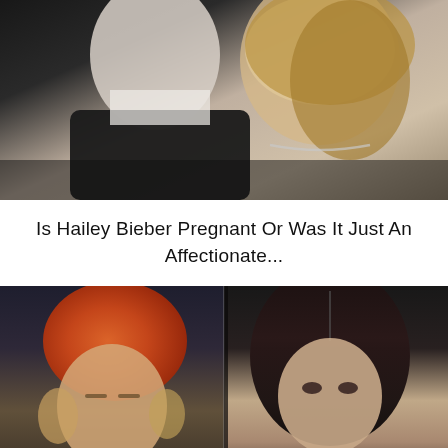[Figure (photo): A couple posing together — a young man in a dark suit on the left and a blonde woman wearing a diamond necklace on the right.]
Is Hailey Bieber Pregnant Or Was It Just An Affectionate...
[Figure (photo): Split image: on the left, a young man wearing an orange beanie hat; on the right, a dark-haired woman looking at the camera.]